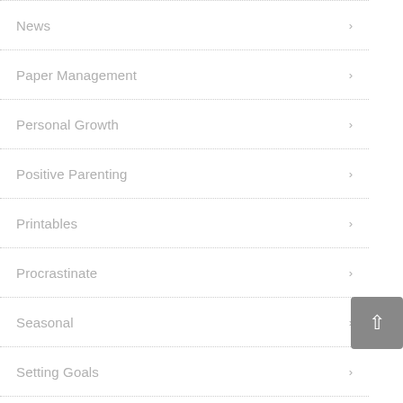News
Paper Management
Personal Growth
Positive Parenting
Printables
Procrastinate
Seasonal
Setting Goals
Stress Reduction
Students
Time Management
Uncategorized